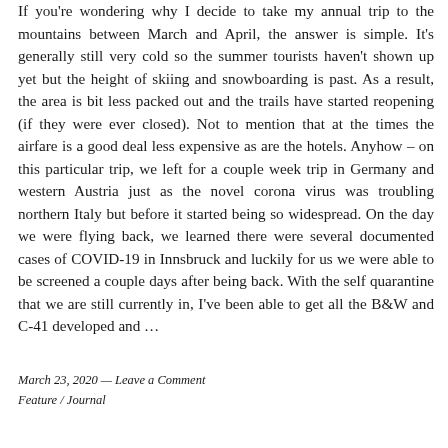If you're wondering why I decide to take my annual trip to the mountains between March and April, the answer is simple. It's generally still very cold so the summer tourists haven't shown up yet but the height of skiing and snowboarding is past. As a result, the area is bit less packed out and the trails have started reopening (if they were ever closed). Not to mention that at the times the airfare is a good deal less expensive as are the hotels. Anyhow – on this particular trip, we left for a couple week trip in Germany and western Austria just as the novel corona virus was troubling northern Italy but before it started being so widespread. On the day we were flying back, we learned there were several documented cases of COVID-19 in Innsbruck and luckily for us we were able to be screened a couple days after being back. With the self quarantine that we are still currently in, I've been able to get all the B&W and C-41 developed and …
March 23, 2020 — Leave a Comment
Feature / Journal